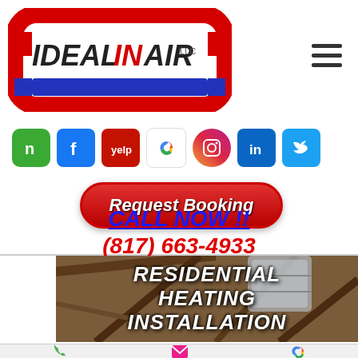[Figure (logo): Ideal In Air LLC logo with red and blue pipe design]
[Figure (infographic): Social media icons: Nextdoor, Facebook, Yelp, Google, Instagram, LinkedIn, Twitter]
[Figure (infographic): Red rounded button with text 'Request Booking']
CALL NOW !! (817) 663-4933
[Figure (photo): Attic/crawlspace background photo showing wood framing and HVAC ducts with text overlay: RESIDENTIAL HEATING INSTALLATION]
[Figure (infographic): Bottom navigation bar with phone, email, and Google icons]